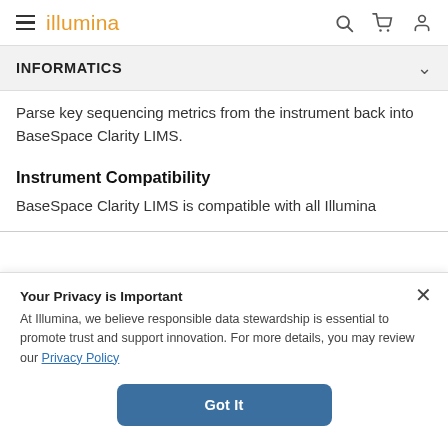illumina
INFORMATICS
Parse key sequencing metrics from the instrument back into BaseSpace Clarity LIMS.
Instrument Compatibility
BaseSpace Clarity LIMS is compatible with all Illumina
Your Privacy is Important
At Illumina, we believe responsible data stewardship is essential to promote trust and support innovation. For more details, you may review our Privacy Policy
Got It